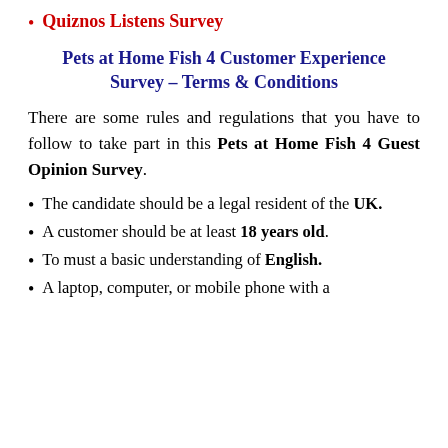Quiznos Listens Survey
Pets at Home Fish 4 Customer Experience Survey – Terms & Conditions
There are some rules and regulations that you have to follow to take part in this Pets at Home Fish 4 Guest Opinion Survey.
The candidate should be a legal resident of the UK.
A customer should be at least 18 years old.
To must a basic understanding of English.
A laptop, computer, or mobile phone with a net connection.